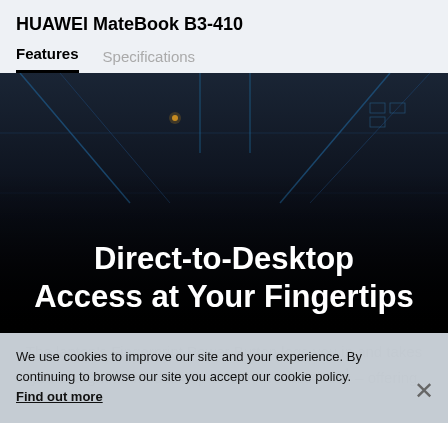HUAWEI MateBook B3-410
Features   Specifications
[Figure (photo): Dark tech-themed hero image with glowing blue circuit/geometric lines pattern on dark background, used as background for HUAWEI MateBook B3-410 product page feature section.]
Direct-to-Desktop Access at Your Fingertips
We use cookies to improve our site and your experience. By continuing to browse our site you accept our cookie policy. Find out more
The laptop's Fingerprint Power Button logs you in and takes you straight to the desktop screen in 8 seconds¹ – offering